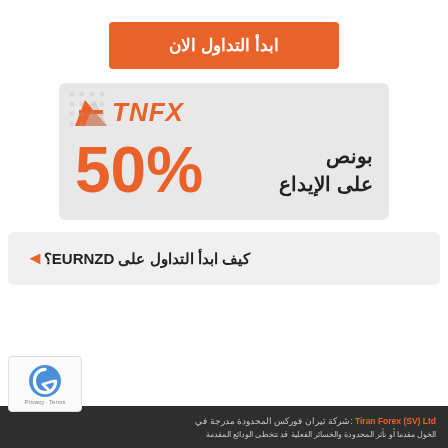[Figure (other): Orange button with Arabic text 'ابدأ التداول الان' (Start trading now)]
[Figure (infographic): TNFX broker advertisement banner showing 50% deposit bonus offer in Arabic: بونص 50% على الإيداع]
كيف ابدأ التداول على EURNZD؟
Tiran Forex (SV) Ltd :شركة تيران فوركس المحدودة مدرجة في